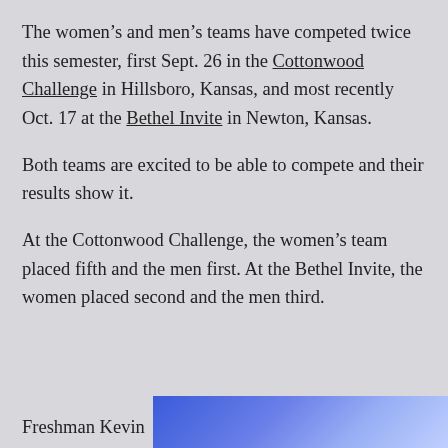The women’s and men’s teams have competed twice this semester, first Sept. 26 in the Cottonwood Challenge in Hillsboro, Kansas, and most recently Oct. 17 at the Bethel Invite in Newton, Kansas.
Both teams are excited to be able to compete and their results show it.
At the Cottonwood Challenge, the women’s team placed fifth and the men first. At the Bethel Invite, the women placed second and the men third.
Freshman Kevin
[Figure (photo): Partial photo with blue/purple tones, partially visible at bottom right of page]